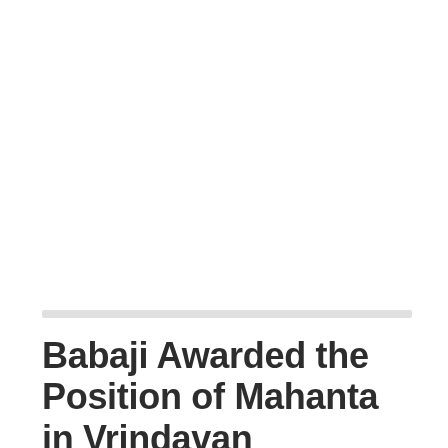Babaji Awarded the Position of Mahanta in Vrindavan